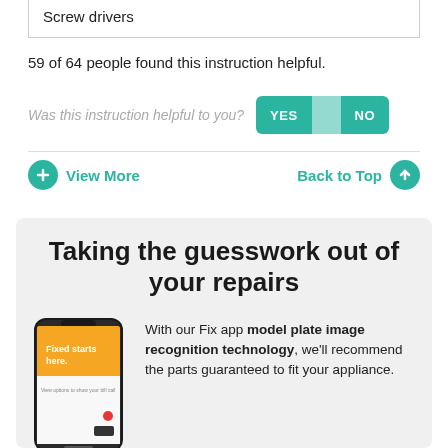Screw drivers
59 of 64 people found this instruction helpful.
Was this instruction helpful to you? YES NO
View More
Back to Top
Taking the guesswork out of your repairs
[Figure (illustration): Smartphone mockup showing Fix app with orange screen and 'Fixed starts here.' text]
With our Fix app model plate image recognition technology, we'll recommend the parts guaranteed to fit your appliance.